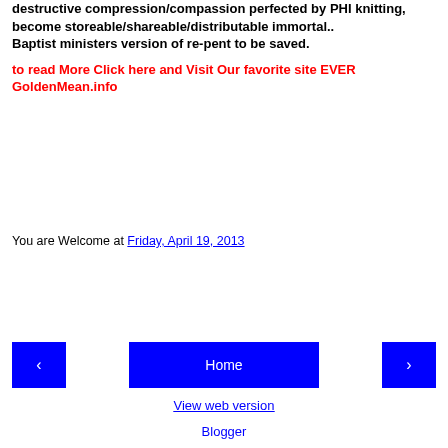destructive compression/compassion perfected by PHI knitting,
become storeable/shareable/distributable immortal..
Baptist ministers version of re-pent to be saved.
to read More Click here and Visit Our favorite site EVER GoldenMean.info
You are Welcome at Friday, April 19, 2013
Share
‹  Home  › View web version Blogger